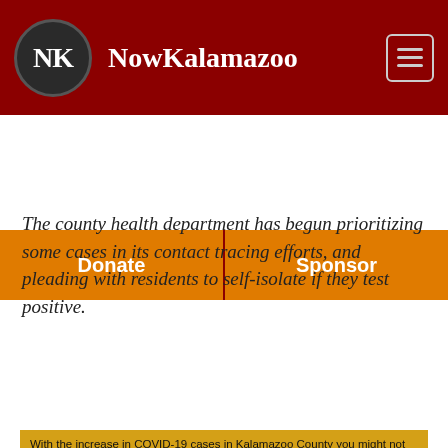NowKalamazoo
Donate | Sponsor
The county health department has begun prioritizing some cases in its contact tracing efforts, and pleading with residents to self-isolate if they test positive.
[Figure (infographic): Infographic graphic with text 'IF YOU TEST POSITIVE FOR COVID-19' alongside a stylized phone/device icon in blue, with a yellow box at bottom containing text about COVID-19 cases in Kalamazoo County.]
With the increase in COVID-19 cases in Kalamazoo County you might not hear from the health department right away. We ask everyone to take the immediate next steps to help stop the spread.